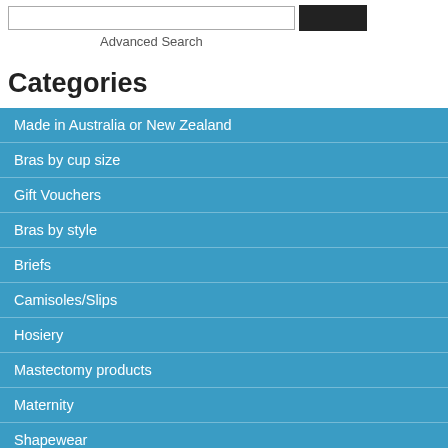Advanced Search
Categories
Made in Australia or New Zealand
Bras by cup size
Gift Vouchers
Bras by style
Briefs
Camisoles/Slips
Hosiery
Mastectomy products
Maternity
Shapewear
Sleepwear
Sportswear
Swimwear
Home » Socks - Mens & Women's »
To find out a little bit ab
https
Shoe Size 11-14
[Figure (photo): Product card: Humphrey Law - Bed Sock - 3 sizes with broken image placeholder]
Humphrey Law - Bed Sock - 3 sizes
$21.50